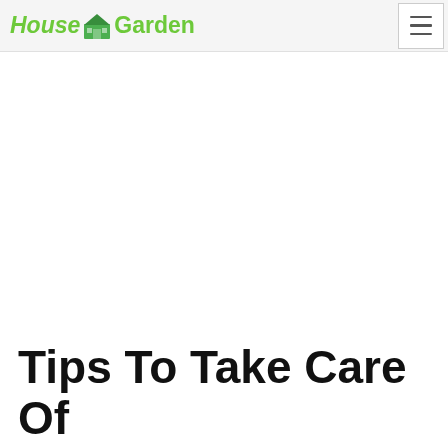House & Garden
Tips To Take Care Of Your Plants To...